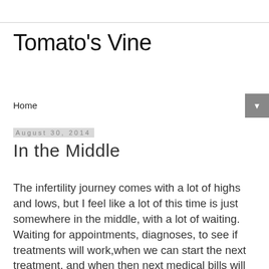Tomato's Vine
Home
August 30, 2014
In the Middle
The infertility journey comes with a lot of highs and lows, but I feel like a lot of this time is just somewhere in the middle, with a lot of waiting.  Waiting for appointments, diagnoses, to see if treatments will work,when we can start the next treatment, and when then next medical bills will roll in (I'm talking about you, pending charges on my insurance website).  I feel like a lot of the time my emotions are somewhere in the middle too...the hope of discovering potential problems and treatments for them, tempered